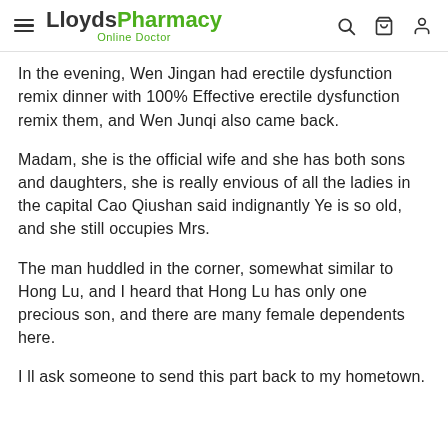LloydsPharmacy Online Doctor
In the evening, Wen Jingan had erectile dysfunction remix dinner with 100% Effective erectile dysfunction remix them, and Wen Junqi also came back.
Madam, she is the official wife and she has both sons and daughters, she is really envious of all the ladies in the capital Cao Qiushan said indignantly Ye is so old, and she still occupies Mrs.
The man huddled in the corner, somewhat similar to Hong Lu, and I heard that Hong Lu has only one precious son, and there are many female dependents here.
I ll ask someone to send this part back to my hometown.